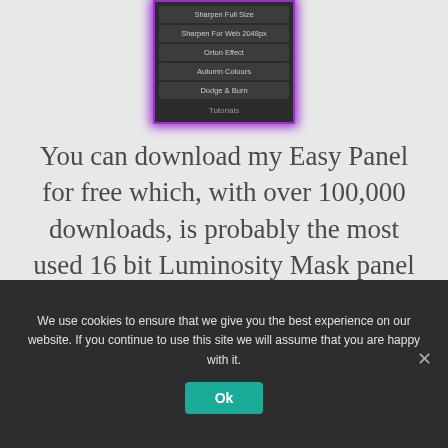[Figure (screenshot): Screenshot of Photoshop panel UI with dark background and purple border glow, showing menu items: Sharpen Full Size, Sharpen For Web 2048px, Orton Effect, Autumn Colours, Dodge & Burn, and Tutorials]
You can download my Easy Panel for free which, with over 100,000 downloads, is probably the most used 16 bit Luminosity Mask panel in the world.
We use cookies to ensure that we give you the best experience on our website. If you continue to use this site we will assume that you are happy with it.